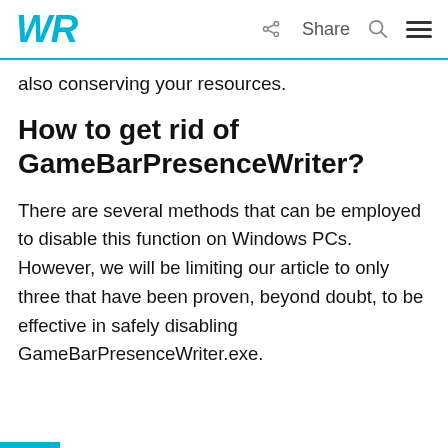WR | Share
also conserving your resources.
How to get rid of GameBarPresenceWriter?
There are several methods that can be employed to disable this function on Windows PCs. However, we will be limiting our article to only three that have been proven, beyond doubt, to be effective in safely disabling GameBarPresenceWriter.exe.